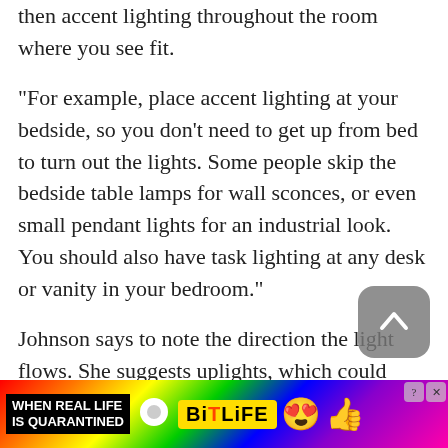then accent lighting throughout the room where you see fit.
“For example, place accent lighting at your bedside, so you don’t need to get up from bed to turn out the lights. Some people skip the bedside table lamps for wall sconces, or even small pendant lights for an industrial look. You should also have task lighting at any desk or vanity in your bedroom.”
Johnson says to note the direction the light flows. She suggests uplights, which could include lamps or sconces, mixed with downlight away from our eyes. The latter could be perimeter recessed ca ceiling lights, sconces or all of the above.
[Figure (other): Advertisement banner for BitLife mobile game with rainbow background, text 'WHEN REAL LIFE IS QUARANTINED', BitLife logo, emoji characters]